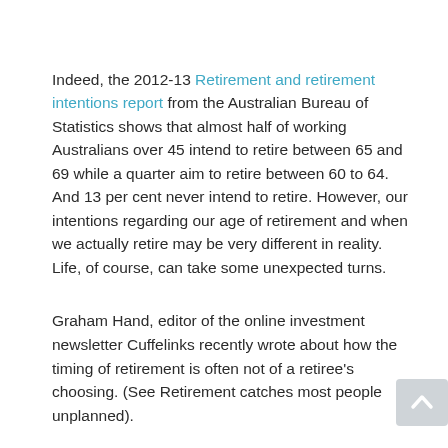Indeed, the 2012-13 Retirement and retirement intentions report from the Australian Bureau of Statistics shows that almost half of working Australians over 45 intend to retire between 65 and 69 while a quarter aim to retire between 60 to 64. And 13 per cent never intend to retire. However, our intentions regarding our age of retirement and when we actually retire may be very different in reality. Life, of course, can take some unexpected turns.
Graham Hand, editor of the online investment newsletter Cuffelinks recently wrote about how the timing of retirement is often not of a retiree's choosing. (See Retirement catches most people unplanned).
In his article, Hand points to a research paper - Work, money, lifestyle: plans of Australian retirees by academics Julie Agnew, Hazel Bateman and Susan Thorp. They found